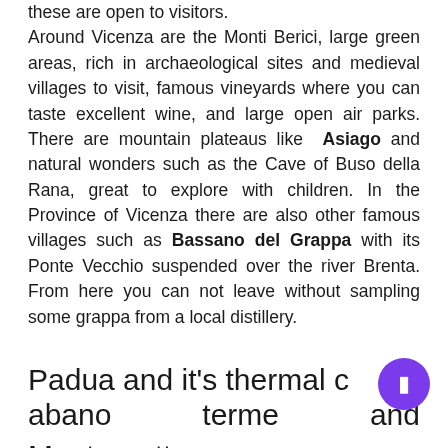these are open to visitors. Around Vicenza are the Monti Berici, large green areas, rich in archaeological sites and medieval villages to visit, famous vineyards where you can taste excellent wine, and large open air parks. There are mountain plateaus like Asiago and natural wonders such as the Cave of Buso della Rana, great to explore with children. In the Province of Vicenza there are also other famous villages such as Bassano del Grappa with its Ponte Vecchio suspended over the river Brenta. From here you can not leave without sampling some grappa from a local distillery.
Padua and it's thermal cities: abano terme and Montegrotto